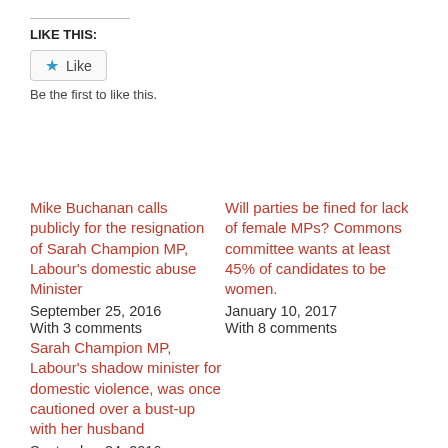LIKE THIS:
Like
Be the first to like this.
Mike Buchanan calls publicly for the resignation of Sarah Champion MP, Labour's domestic abuse Minister
September 25, 2016
With 3 comments
Will parties be fined for lack of female MPs? Commons committee wants at least 45% of candidates to be women.
January 10, 2017
With 8 comments
Sarah Champion MP, Labour's shadow minister for domestic violence, was once cautioned over a bust-up with her husband
September 24, 2016
With 4 comments